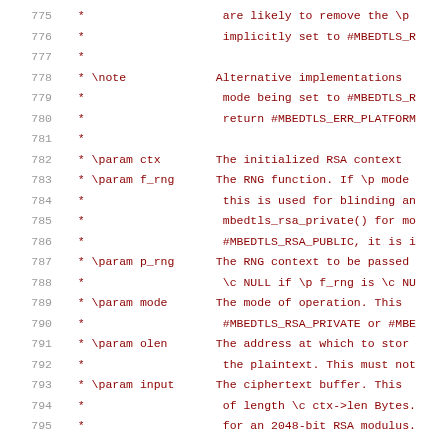775-795: Source code documentation comment block showing RSA function parameter descriptions
775  *                    are likely to remove the \p
776  *                    implicitly set to #MBEDTLS_R
777  *
778  * \note             Alternative implementations
779  *                    mode being set to #MBEDTLS_R
780  *                    return #MBEDTLS_ERR_PLATFORM
781  *
782  * \param ctx        The initialized RSA context
783  * \param f_rng      The RNG function. If \p mode
784  *                    this is used for blinding an
785  *                    mbedtls_rsa_private() for mo
786  *                    #MBEDTLS_RSA_PUBLIC, it is i
787  * \param p_rng      The RNG context to be passed
788  *                    \c NULL if \p f_rng is \c NU
789  * \param mode       The mode of operation. This
790  *                    #MBEDTLS_RSA_PRIVATE or #MBE
791  * \param olen       The address at which to stor
792  *                    the plaintext. This must not
793  * \param input      The ciphertext buffer. This
794  *                    of length \c ctx->len Bytes.
795  *                    for an 2048-bit RSA modulus.